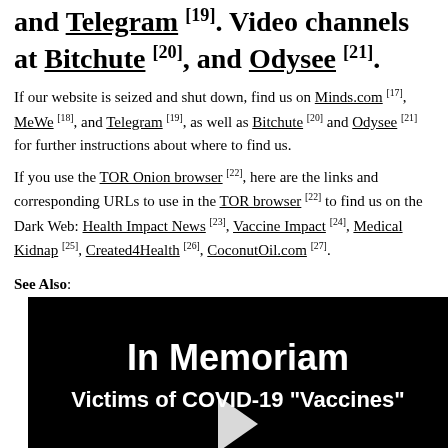and Telegram [19]. Video channels at Bitchute [20], and Odysee [21].
If our website is seized and shut down, find us on Minds.com [17], MeWe [18], and Telegram [19], as well as Bitchute [20] and Odysee [21] for further instructions about where to find us.
If you use the TOR Onion browser [22], here are the links and corresponding URLs to use in the TOR browser [22] to find us on the Dark Web: Health Impact News [23], Vaccine Impact [24], Medical Kidnap [25], Created4Health [26], CoconutOil.com [27].
See Also:
[Figure (screenshot): Black background video thumbnail with white bold text reading 'In Memoriam' and below it 'Victims of COVID-19 "Vaccines"' with a play button arrow at the bottom center.]